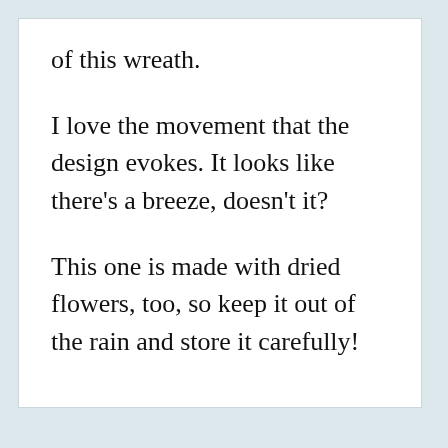of this wreath.
I love the movement that the design evokes. It looks like there’s a breeze, doesn’t it?
This one is made with dried flowers, too, so keep it out of the rain and store it carefully!